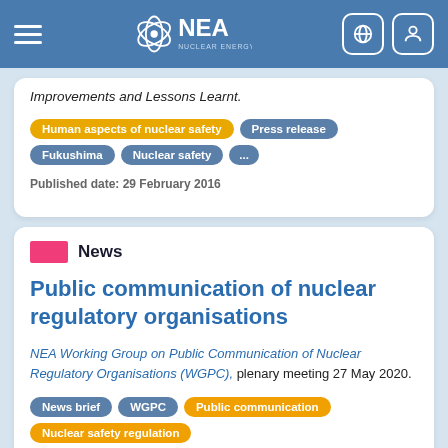NEA Nuclear Energy Agency
Improvements and Lessons Learnt.
Tags: Human aspects of nuclear safety, Press release, Fukushima, Nuclear safety, ...
Published date: 29 February 2016
News
Public communication of nuclear regulatory organisations
NEA Working Group on Public Communication of Nuclear Regulatory Organisations (WGPC), plenary meeting 27 May 2020.
Tags: News brief, WGPC, Public communication, Nuclear safety regulation
Published date: 4 June 2020